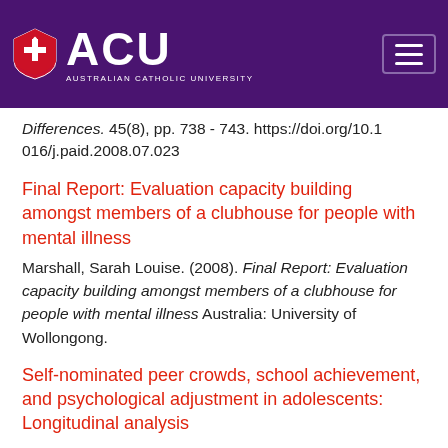[Figure (logo): Australian Catholic University (ACU) logo with shield and text on purple header background]
Differences. 45(8), pp. 738 - 743. https://doi.org/10.1016/j.paid.2008.07.023
Final Report: Evaluation capacity building amongst members of a clubhouse for people with mental illness
Marshall, Sarah Louise. (2008). Final Report: Evaluation capacity building amongst members of a clubhouse for people with mental illness Australia: University of Wollongong.
Self-nominated peer crowds, school achievement, and psychological adjustment in adolescents: Longitudinal analysis